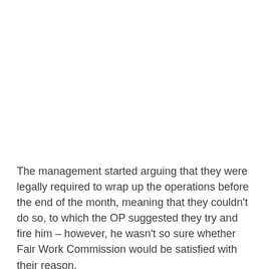The management started arguing that they were legally required to wrap up the operations before the end of the month, meaning that they couldn't do so, to which the OP suggested they try and fire him – however, he wasn't so sure whether Fair Work Commission would be satisfied with their reason.